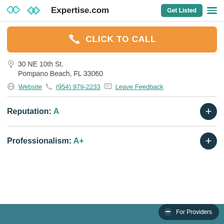Expertise.com | Get Listed
[Figure (other): Orange click to call button with phone icon]
30 NE 10th St. Pompano Beach, FL 33060
Website | (954) 979-2233 | Leave Feedback
Reputation: A
Professionalism: A+
[Figure (other): For Providers chat button floating at bottom right]